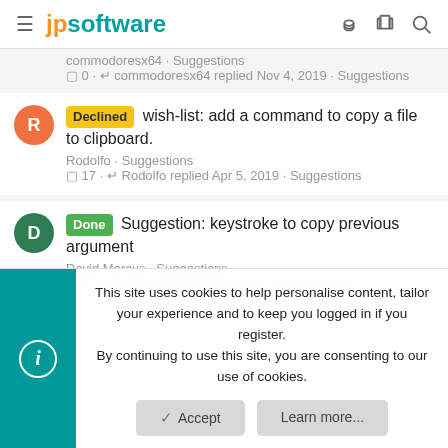jpsoftware
commodoresx64 · Suggestions
☐ 0 · ↩ commodoresx64 replied Nov 4, 2019 · Suggestions
Declined wish-list: add a command to copy a file to clipboard.
Rodolfo · Suggestions
☐ 17 · ↩ Rodolfo replied Apr 5, 2019 · Suggestions
Done Suggestion: keystroke to copy previous argument
David Marcus · Suggestions
☐ 2 · ↩ rconn replied Jul 21, 2019 · Suggestions
This site uses cookies to help personalise content, tailor your experience and to keep you logged in if you register.
By continuing to use this site, you are consenting to our use of cookies.